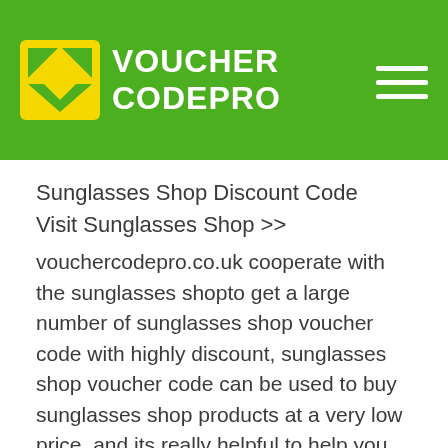VOUCHER CODEPRO
Sunglasses Shop Discount Code
Visit Sunglasses Shop >>
vouchercodepro.co.uk cooperate with the sunglasses shopto get a large number of sunglasses shop voucher code with highly discount, sunglasses shop voucher code can be used to buy sunglasses shop products at a very low price, and its really helpful to help you save money, and sometimes the sunglasses shop's original price is £ 99, you can save up to £30 by using the sunglasses shop discount code! this discount is really big. it may happens some of us do not know sunglasses shop voucher codes and may wonder: what is sunglasses shop voucher code use for? usually, sunglasses shop in order to promote sales, so the sunglasses shop set up the sunglasses shop voucher codes and the affiliate help sunglasses shop to promote sunglasses shop discount code, and let more sunglasses shop customer can be known the sunglasses shop promotion and also help them to